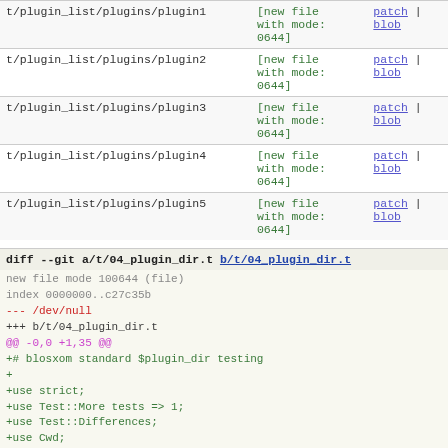| path | status | links |
| --- | --- | --- |
| t/plugin_list/plugins/plugin1 | [new file with mode: 0644] | patch | blob |
| t/plugin_list/plugins/plugin2 | [new file with mode: 0644] | patch | blob |
| t/plugin_list/plugins/plugin3 | [new file with mode: 0644] | patch | blob |
| t/plugin_list/plugins/plugin4 | [new file with mode: 0644] | patch | blob |
| t/plugin_list/plugins/plugin5 | [new file with mode: 0644] | patch | blob |
diff --git a/t/04_plugin_dir.t b/t/04_plugin_dir.t
new file mode 100644 (file)
index 0000000..c27c35b
--- /dev/null
+++ b/t/04_plugin_dir.t
@@ -0,0 +1,35 @@
+# blosxom standard $plugin_dir testing
+
+use strict;
+use Test::More tests => 1;
+use Test::Differences;
+use Cwd;
+use IO::File;